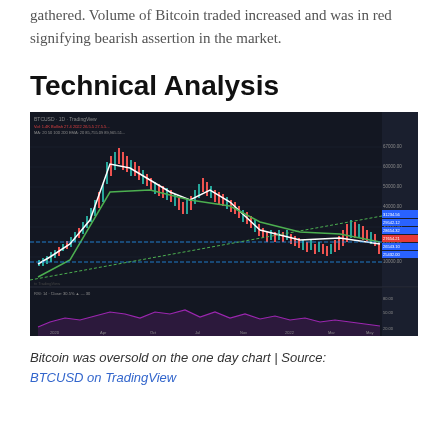gathered. Volume of Bitcoin traded increased and was in red signifying bearish assertion in the market.
Technical Analysis
[Figure (screenshot): TradingView BTCUSD one day chart showing candlestick price action with moving averages (white and green curves), a descending channel, price levels on the right axis, and an RSI/oscillator panel below. The chart spans from approximately 2020 to 2022 and shows Bitcoin in oversold territory.]
Bitcoin was oversold on the one day chart | Source: BTCUSD on TradingView